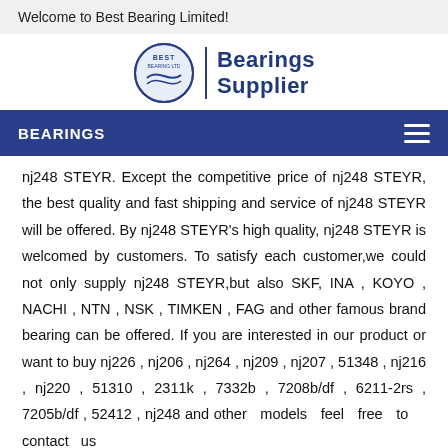Welcome to Best Bearing Limited!
[Figure (logo): Best Bearing Ltd circular logo with wave design and text 'Bearings Supplier']
BEARINGS
nj248 STEYR. Except the competitive price of nj248 STEYR, the best quality and fast shipping and service of nj248 STEYR will be offered. By nj248 STEYR's high quality, nj248 STEYR is welcomed by customers. To satisfy each customer,we could not only supply nj248 STEYR,but also SKF, INA , KOYO , NACHI , NTN , NSK , TIMKEN , FAG and other famous brand bearing can be offered. If you are interested in our product or want to buy nj226 , nj206 , nj264 , nj209 , nj207 , 51348 , nj216 , nj220 , 51310 , 2311k , 7332b , 7208b/df , 6211-2rs , 7205b/df , 52412 , nj248 and other models feel free to contact us